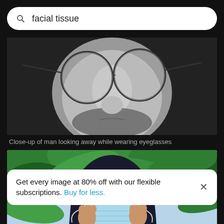facial tissue
[Figure (photo): Close-up black and white photo of a man wearing round eyeglasses, showing nose and lower face with stubble]
Close-up of man looking away while wearing eyeglasses
[Figure (photo): Color photo of a woman in a black hijab holding up a light blue surgical face mask in front of her face, with green tropical leaves in the background]
Get every image at 80% off with our flexible subscriptions. Buy for less.